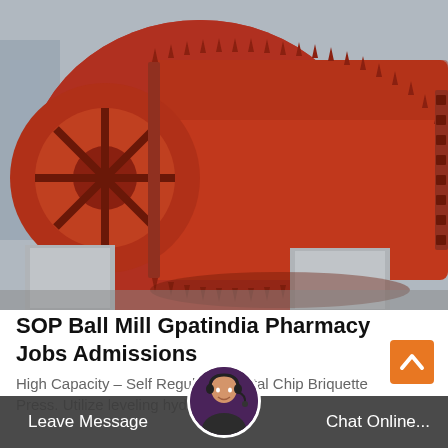[Figure (photo): Large industrial red ball mill / rotary drum equipment photographed from below against a grey sky. The machine is painted orange-red with heavy bolted flanges and gear/sprocket assembly visible on the left side. Concrete support structures visible at the bottom.]
SOP Ball Mill Gpatindia Pharmacy Jobs Admissions
High Capacity – Self Regulating Metal Chip Briquette Press. Utilizes leveling hydraulic...zes...ive wo...
Leave Message   Chat Online